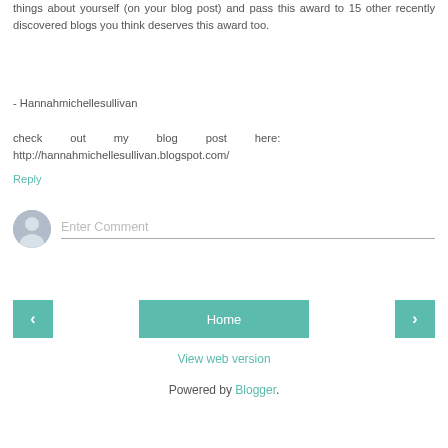things about yourself (on your blog post) and pass this award to 15 other recently discovered blogs you think deserves this award too.
- Hannahmichellesullivan
check out my blog post here: http://hannahmichellesullivan.blogspot.com/
Reply
[Figure (illustration): User avatar placeholder icon (grey circle with grey person silhouette) and comment input field with placeholder text 'Enter Comment' and a bottom border line]
[Figure (infographic): Navigation row with three teal buttons: left arrow, Home (center), right arrow]
View web version
Powered by Blogger.